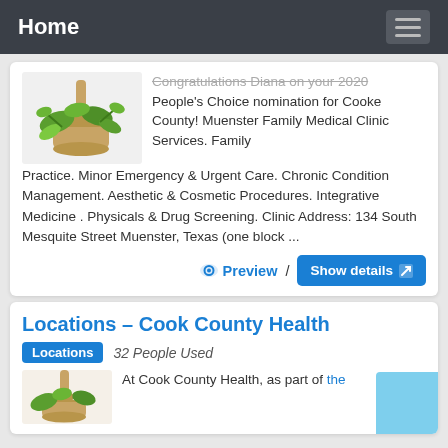Home
Congratulations Diana on your 2020 People's Choice nomination for Cooke County! Muenster Family Medical Clinic Services. Family Practice. Minor Emergency & Urgent Care. Chronic Condition Management. Aesthetic & Cosmetic Procedures. Integrative Medicine . Physicals & Drug Screening. Clinic Address: 134 South Mesquite Street Muenster, Texas (one block ...
Locations – Cook County Health
Locations  32 People Used
At Cook County Health, as part of the ...